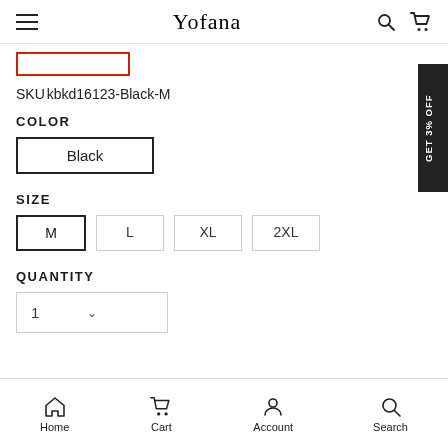Yofana
SKU kbkd16123-Black-M
COLOR
Black
SIZE
M  L  XL  2XL
QUANTITY
1
Home  Cart  Account  Search